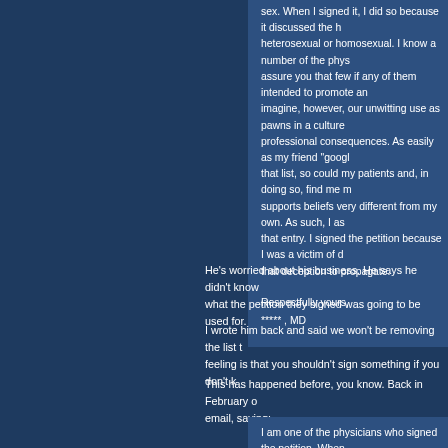sex. When I signed it, I did so because it discussed the heterosexual or homosexual. I know a number of the phys assure you that few if any of them intended to promote an imagine, however, our unwitting use as pawns in a culture professional consequences. As easily as my friend "google that list, so could my patients and, in doing so, find me me supports beliefs very different from my own. As such, I ask that entry. I signed the petition because I was a victim of d that deception to propagate.
Respectfully yours,
***** , MD
He's worried about his business. He says he didn't know what the petition they signed was going to be used for.
I wrote him back and said we won't be removing the list feeling is that you shouldn't sign something if you don't k
This has happened before, you know. Back in February email, saying:
I am one of the physicians who signed the petition. When this was a political issue, rather a medical one.